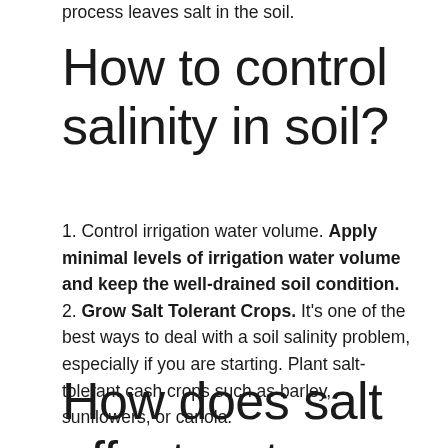process leaves salt in the soil.
How to control salinity in soil?
1. Control irrigation water volume. Apply minimal levels of irrigation water volume and keep the well-drained soil condition. 2. Grow Salt Tolerant Crops. It's one of the best ways to deal with a soil salinity problem, especially if you are starting. Plant salt-tolerant cash crops such as barley, sunflowers, or canola.
How does salt affect water quality?